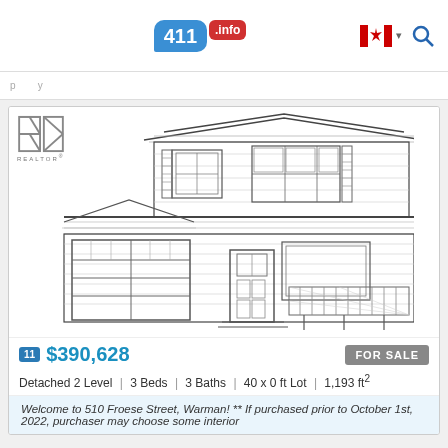411.info — Canadian business directory and listings
[Figure (illustration): Architectural front-elevation drawing of a two-storey detached house with attached garage, front porch with railing, gabled roof, and multiple windows. REALTOR logo in upper-left corner.]
11  $390,628   FOR SALE
Detached 2 Level | 3 Beds | 3 Baths | 40 x 0 ft Lot | 1,193 ft²
Welcome to 510 Froese Street, Warman! ** If purchased prior to October 1st, 2022, purchaser may choose some interior